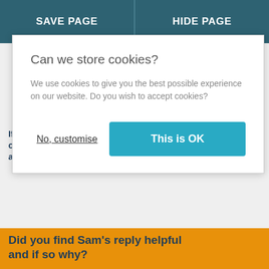SAVE PAGE | HIDE PAGE
Can we store cookies?
We use cookies to give you the best possible experience on our website. Do you wish to accept cookies?
No, customise
This is OK
If you're feeling overwhelmed or anxious, we've got calming activities to help.
Keep track of how you're feeling and why, it's a great way to let your feelings out.
Did you find Sam's reply helpful and if so why?